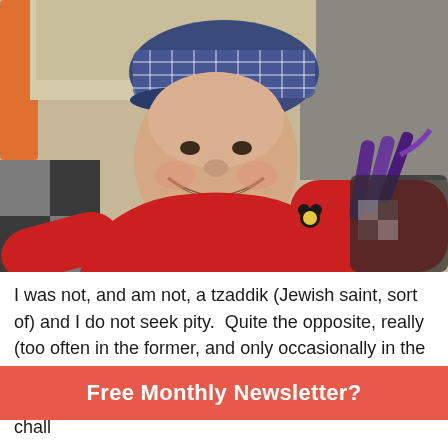[Figure (photo): Elderly woman smiling broadly, wearing a blue and white plaid/checkered cap and a red turtleneck sweater with a Mickey Mouse brooch pin. She is holding purple-handled items (possibly combs or brushes). The photo is taken from a slightly overhead angle.]
I was not, and am not, a tzaddik (Jewish saint, sort of) and I do not seek pity.  Quite the opposite, really (too often in the former, and only occasionally in the latter) as most of the time                                                          chall
Free Monthly Newsletter?